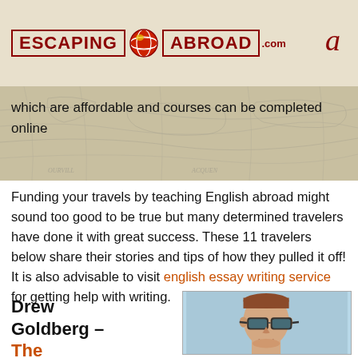ESCAPING ABROAD a
which are affordable and courses can be completed online
Funding your travels by teaching English abroad might sound too good to be true but many determined travelers have done it with great success. These 11 travelers below share their stories and tips of how they pulled it off! It is also advisable to visit english essay writing service for getting help with writing.
Drew Goldberg – The Hungry Partier
[Figure (photo): Headshot of Drew Goldberg wearing sunglasses outdoors with blue sky background]